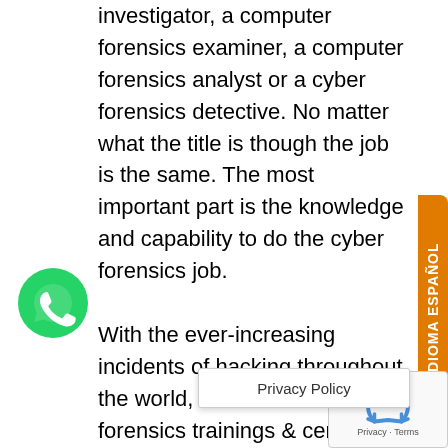investigator, a computer forensics examiner, a computer forensics analyst or a cyber forensics detective. No matter what the title is though the job is the same. The most important part is the knowledge and capability to do the cyber forensics job.
With the ever-increasing incidents of hacking throughout the world, the need of computer forensics trainings & certified professional has augmented exponentially. Digital forensics also known as cyber forensics or computer forensics is one of the [hacking]
[Figure (other): WhatsApp button icon (green circle with phone handset)]
[Figure (other): IDIOMA ESPAÑOL vertical orange tab on right side]
[Figure (other): reCAPTCHA box bottom right]
Privacy Policy